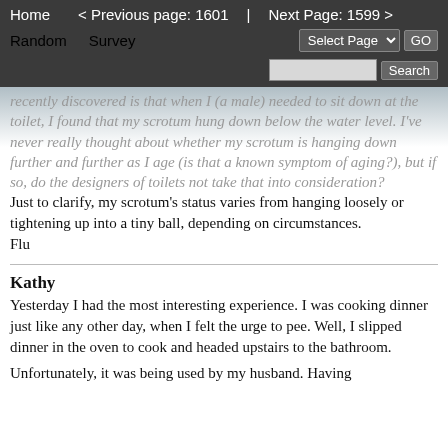Home  < Previous page: 1601  |  Next Page: 1599 >
Random  Survey  Select Page  GO
Search
recently discovered is that when I (a male) needed to sit down at the toilet, I found that my scrotum hung down below the water level. I've never really thought about whether my scrotum is hanging down further and further as I age (is that a known symptom of aging?), but if so, do the designers of toilets not take that into consideration?
Just to clarify, my scrotum's status varies from hanging loosely or tightening up into a tiny ball, depending on circumstances.
Flu
Kathy
Yesterday I had the most interesting experience. I was cooking dinner just like any other day, when I felt the urge to pee. Well, I slipped dinner in the oven to cook and headed upstairs to the bathroom.
Unfortunately, it was being used by my husband. Having